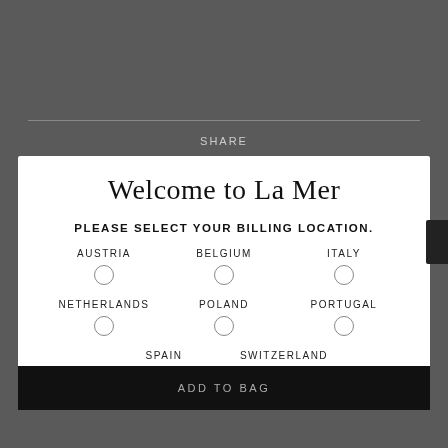SHARE
#LoveLaMer
Welcome to La Mer
PLEASE SELECT YOUR BILLING LOCATION.
AUSTRIA
BELGIUM
ITALY
NETHERLANDS
POLAND
PORTUGAL
SPAIN
SWITZERLAND
ADD TO BAG